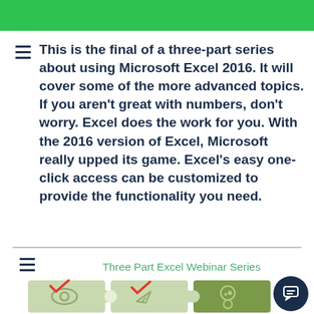This is the final of a three-part series about using Microsoft Excel 2016. It will cover some of the more advanced topics. If you aren't great with numbers, don't worry. Excel does the work for you. With the 2016 version of Excel, Microsoft really upped its game. Excel's easy one-click access can be customized to provide the functionality you need.
Three Part Excel Webinar Series
[Figure (illustration): Three puzzle pieces side by side with icons: an eye, a paper airplane, and a head with gears. The first two pieces have red checkmarks on them. A dark navy circular chat bubble icon is in the lower right.]